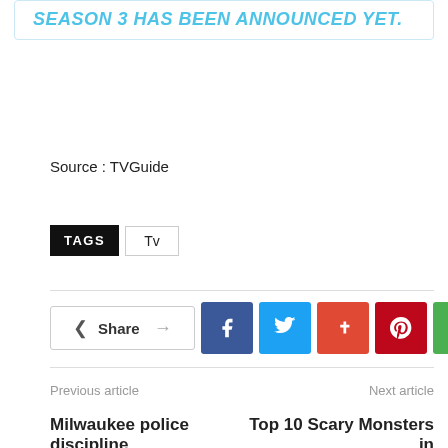SEASON 3 HAS BEEN ANNOUNCED YET.
Source : TVGuide
TAGS  Tv
[Figure (infographic): Share button row with Facebook, Twitter, Google+, Pinterest, and WhatsApp social sharing icons]
Previous article
Next article
Milwaukee police discipline
Top 10 Scary Monsters in